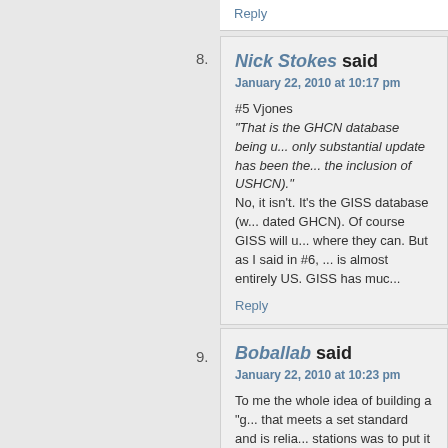Reply
8. Nick Stokes said
January 22, 2010 at 10:17 pm
#5 Vjones
"That is the GHCN database being u... only substantial update has been the... the inclusion of USHCN)."
No, it isn't. It's the GISS database (w... dated GHCN). Of course GISS will u... where they can. But as I said in #6, ... is almost entirely US. GISS has muc...
Reply
9. Boballab said
January 22, 2010 at 10:23 pm
To me the whole idea of building a "g... that meets a set standard and is relia... stations was to put it nicely naïve in t... goes down from there. There is obvi... this idea such as: